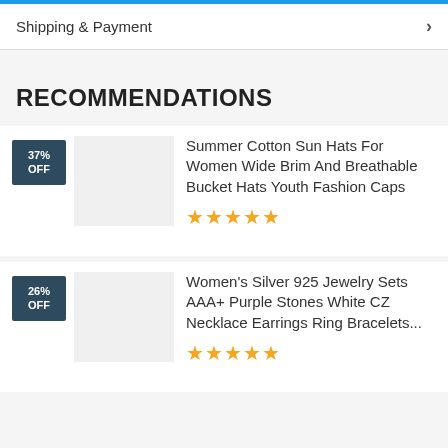Shipping & Payment
RECOMMENDATIONS
37% OFF — Summer Cotton Sun Hats For Women Wide Brim And Breathable Bucket Hats Youth Fashion Caps ★★★★★
26% OFF — Women's Silver 925 Jewelry Sets AAA+ Purple Stones White CZ Necklace Earrings Ring Bracelets... ★★★★★